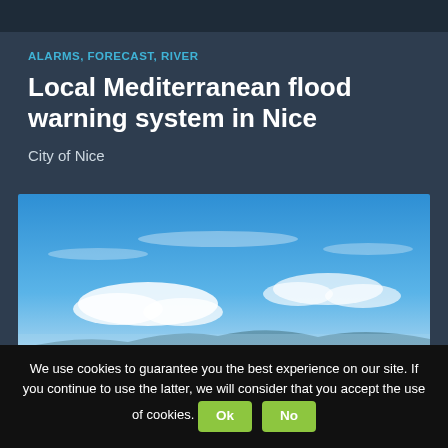ALARMS, FORECAST, RIVER
Local Mediterranean flood warning system in Nice
City of Nice
[Figure (photo): Blue sky with scattered white clouds and faint mountain silhouette at the horizon]
We use cookies to guarantee you the best experience on our site. If you continue to use the latter, we will consider that you accept the use of cookies.